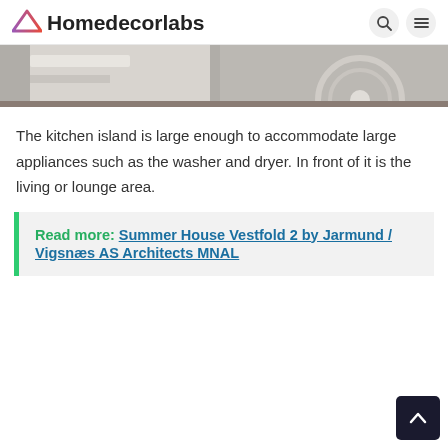Homedecorlabs
[Figure (photo): Partial view of kitchen appliances including what appears to be a washer and dryer, cropped at the top of the page]
The kitchen island is large enough to accommodate large appliances such as the washer and dryer. In front of it is the living or lounge area.
Read more:  Summer House Vestfold 2 by Jarmund / Vigsnæs AS Architects MNAL